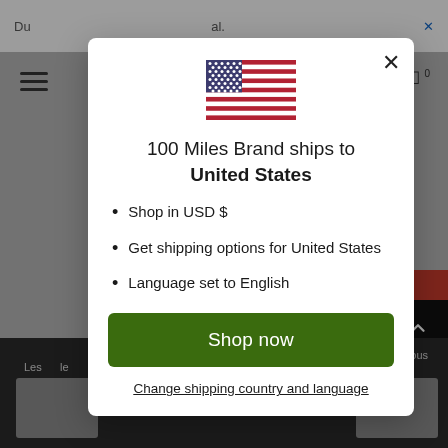[Figure (screenshot): Background of a website with a dimmed overlay showing a navigation bar, hamburger menu, cart icon, red product image, scroll-to-top button, and a dark footer bar with product thumbnails.]
[Figure (illustration): United States flag SVG illustration displayed at the top center of the modal popup.]
100 Miles Brand ships to United States
Shop in USD $
Get shipping options for United States
Language set to English
Shop now
Change shipping country and language